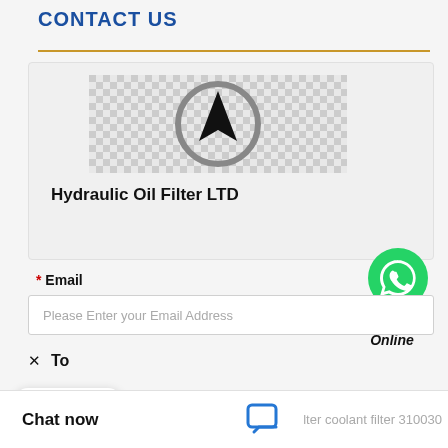CONTACT US
[Figure (logo): Hydraulic Oil Filter LTD company logo – circular compass/arrow icon on checkered background]
Hydraulic Oil Filter LTD
[Figure (logo): WhatsApp green circle icon with phone handset]
WhatsApp Online
* Email
Please Enter your Email Address
× To
[Figure (other): Three dots loading/typing indicator card]
lic Oil Filter LTD
* Subject
Chat now
lter coolant filter 310030